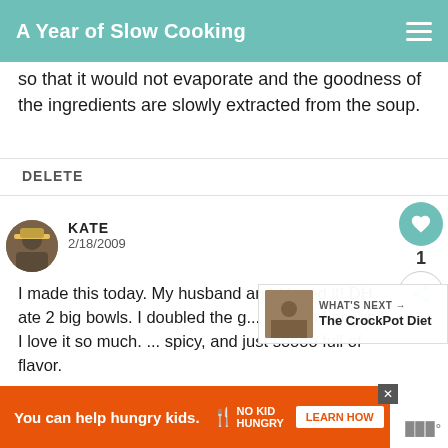A Year of Slow Cooking
so that it would not evaporate and the goodness of the ingredients are slowly extracted from the soup.
DELETE
KATE
2/18/2009
I made this today. My husband and I loved it! DH ate 2 big bowls. I doubled the g... masala because I love it so much. ... spicy, and just soooo full of flavor.
[Figure (screenshot): What's Next promo box showing The CrockPot Diet]
[Figure (infographic): Orange ad banner: You can help hungry kids. No Kid Hungry. Learn How.]